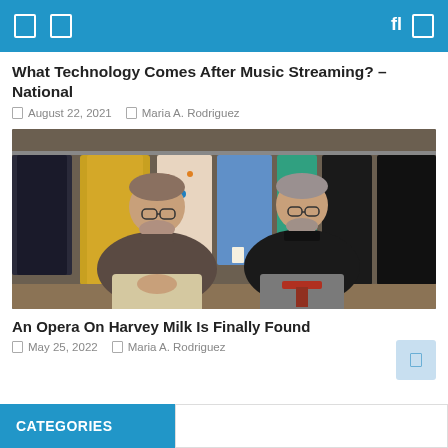What Technology Comes After Music Streaming? – National
August 22, 2021  Maria A. Rodriguez
[Figure (photo): Two middle-aged men with glasses seated in front of a clothing rack with colorful garments hanging behind them.]
An Opera On Harvey Milk Is Finally Found
May 25, 2022  Maria A. Rodriguez
CATEGORIES